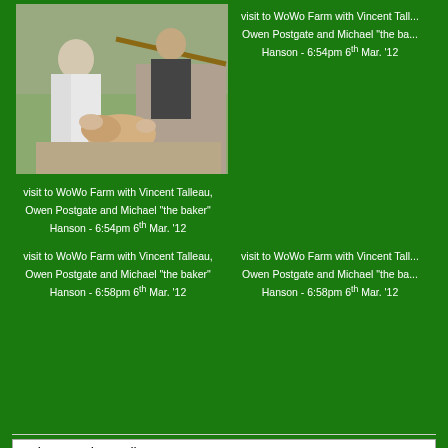[Figure (photo): Photo of people at WoWo Farm, two men handling bread dough outdoors near a stone structure, one holding a wooden pole]
visit to WoWo Farm with Vincent Talleau, Owen Postgate and Michael "the baker" Hanson - 6:54pm 6th Mar. '12
visit to WoWo Farm with Vincent Talleau, Owen Postgate and Michael "the baker" Hanson - 6:54pm 6th Mar. '12
visit to WoWo Farm with Vincent Talleau, Owen Postgate and Michael "the baker" Hanson - 6:58pm 6th Mar. '12
visit to WoWo Farm with Vincent Talleau, Owen Postgate and Michael "the baker" Hanson - 6:58pm 6th Mar. '12